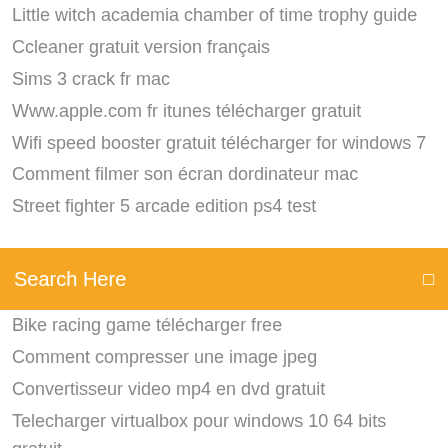Little witch academia chamber of time trophy guide
Ccleaner gratuit version français
Sims 3 crack fr mac
Www.apple.com fr itunes télécharger gratuit
Wifi speed booster gratuit télécharger for windows 7
Comment filmer son écran dordinateur mac
Street fighter 5 arcade edition ps4 test
Search Here
Bike racing game télécharger free
Comment compresser une image jpeg
Convertisseur video mp4 en dvd gratuit
Telecharger virtualbox pour windows 10 64 bits gratuit
Télécharger red alert 2 for android
Musique gratuite pour téléphone portable samsung
Chrome for windows 10 exe
Le meilleur logiciel anti malware gratuit
Télécharger game spore pc highly compressed
Davinci resolve for windows 7 64 bit télécharger